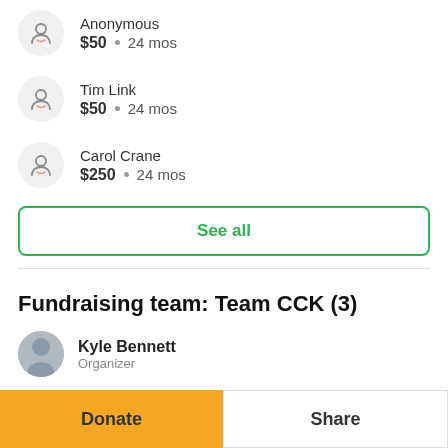Anonymous — $50 • 24 mos
Tim Link — $50 • 24 mos
Carol Crane — $250 • 24 mos
See all
Fundraising team: Team CCK (3)
Kyle Bennett — Organizer
Donate
Share